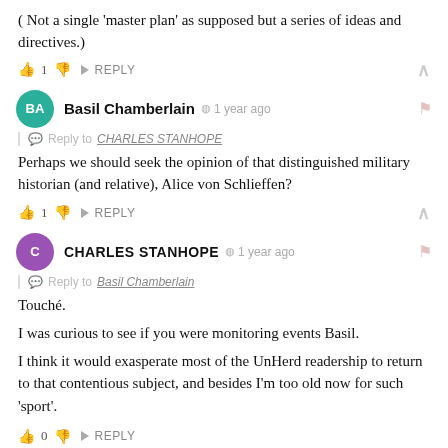( Not a single 'master plan' as supposed but a series of ideas and directives.)
👍 1 👎 → REPLY ^
Basil Chamberlain · 1 year ago — Reply to CHARLES STANHOPE — Perhaps we should seek the opinion of that distinguished military historian (and relative), Alice von Schlieffen?
👍 1 👎 → REPLY ^
CHARLES STANHOPE · 1 year ago — Reply to Basil Chamberlain — Touché.

I was curious to see if you were monitoring events Basil.

I think it would exasperate most of the UnHerd readership to return to that contentious subject, and besides I'm too old now for such 'sport'.
👍 0 👎 → REPLY